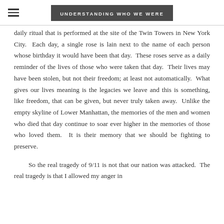UNDERSTANDING WHO WE WERE
daily ritual that is performed at the site of the Twin Towers in New York City.  Each day, a single rose is lain next to the name of each person whose birthday it would have been that day.  These roses serve as a daily reminder of the lives of those who were taken that day.  Their lives may have been stolen, but not their freedom; at least not automatically.  What gives our lives meaning is the legacies we leave and this is something, like freedom, that can be given, but never truly taken away.  Unlike the empty skyline of Lower Manhattan, the memories of the men and women who died that day continue to soar ever higher in the memories of those who loved them.  It is their memory that we should be fighting to preserve.
So the real tragedy of 9/11 is not that our nation was attacked.  The real tragedy is that I allowed my anger in